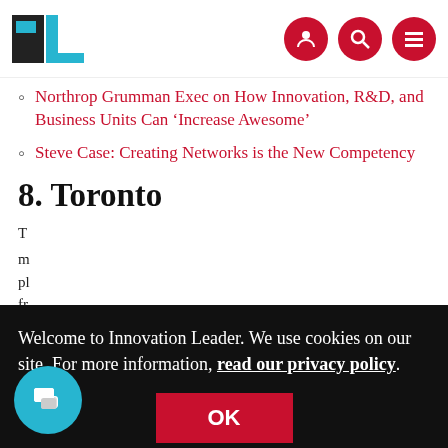Innovation Leader – navigation header with logo and icons
Northrop Grumman Exec on How Innovation, R&D, and Business Units Can ‘Increase Awesome’
Steve Case: Creating Networks is the New Competency
8. Toronto
T[he city has been a hub for innovation]... [partial text obscured by cookie banner]
B[...] ...thinking from the protracted decline of BlackBerry Limited, the Waterloo company that
Welcome to Innovation Leader. We use cookies on our site. For more information, read our privacy policy.
OK